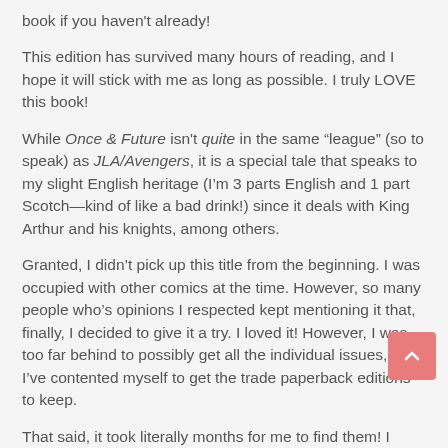book if you haven't already!
This edition has survived many hours of reading, and I hope it will stick with me as long as possible. I truly LOVE this book!
While Once & Future isn't quite in the same “league” (so to speak) as JLA/Avengers, it is a special tale that speaks to my slight English heritage (I’m 3 parts English and 1 part Scotch—kind of like a bad drink!) since it deals with King Arthur and his knights, among others.
Granted, I didn’t pick up this title from the beginning. I was occupied with other comics at the time. However, so many people who’s opinions I respected kept mentioning it that, finally, I decided to give it a try. I loved it! However, I was too far behind to possibly get all the individual issues, so I’ve contented myself to get the trade paperback editions to keep.
That said, it took literally months for me to find them! I asked my regular LCS to order them, but they never